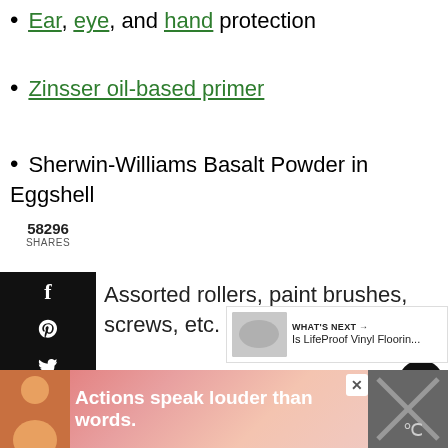Ear, eye, and hand protection
Zinsser oil-based primer
Sherwin-Williams Basalt Powder in Eggshell
Assorted rollers, paint brushes, screws, etc.
8-inch memory foam box mattress (more on the mattress choice later)
58296 SHARES
WHAT'S NEXT → Is LifeProof Vinyl Floorin...
Actions speak louder than words.